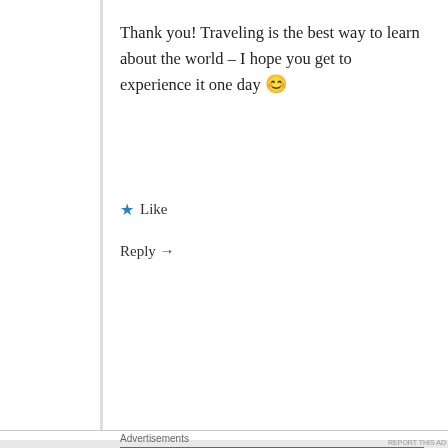Thank you! Traveling is the best way to learn about the world – I hope you get to experience it one day 😊
★ Like
Reply →
Advertisements
[Figure (screenshot): Red advertisement banner for 'Distributed' app: An app by listeners, for listeners. Download now button. Shows a phone with the app displayed.]
Advertisements
[Figure (screenshot): DuckDuckGo advertisement: Search, browse, and email with more privacy. All in One Free App. Shows DuckDuckGo logo on dark background.]